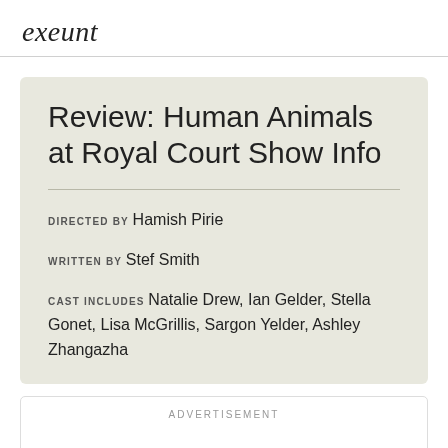exeunt
Review: Human Animals at Royal Court Show Info
DIRECTED BY Hamish Pirie
WRITTEN BY Stef Smith
CAST INCLUDES Natalie Drew, Ian Gelder, Stella Gonet, Lisa McGrillis, Sargon Yelder, Ashley Zhangazha
ADVERTISEMENT